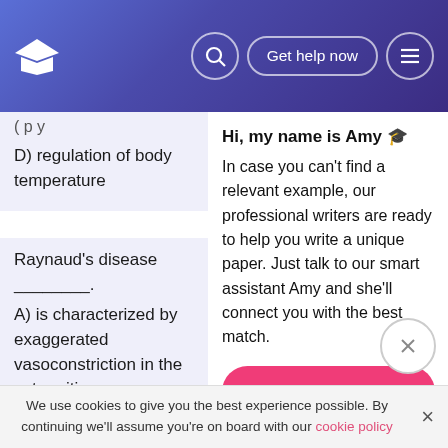Get help now
D) regulation of body temperature
Raynaud's disease ________.
A) is characterized by exaggerated vasoconstriction in the extremities
B) is induced by heat stress
C) occurs primarily in
Hi, my name is Amy 🎓
In case you can't find a relevant example, our professional writers are ready to help you write a unique paper. Just talk to our smart assistant Amy and she'll connect you with the best match.
Get help with your paper
We use cookies to give you the best experience possible. By continuing we'll assume you're on board with our cookie policy